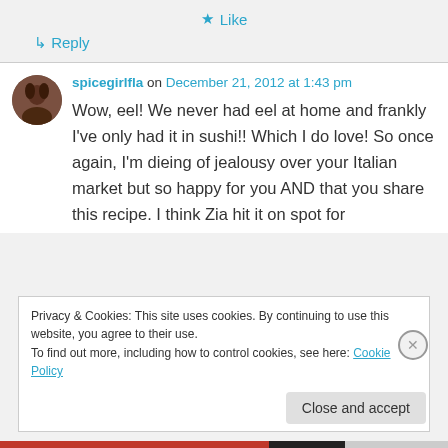★ Like
↳ Reply
spicegirlfla on December 21, 2012 at 1:43 pm
Wow, eel! We never had eel at home and frankly I've only had it in sushi!! Which I do love! So once again, I'm dieing of jealousy over your Italian market but so happy for you AND that you share this recipe. I think Zia hit it on spot for
Privacy & Cookies: This site uses cookies. By continuing to use this website, you agree to their use. To find out more, including how to control cookies, see here: Cookie Policy
Close and accept